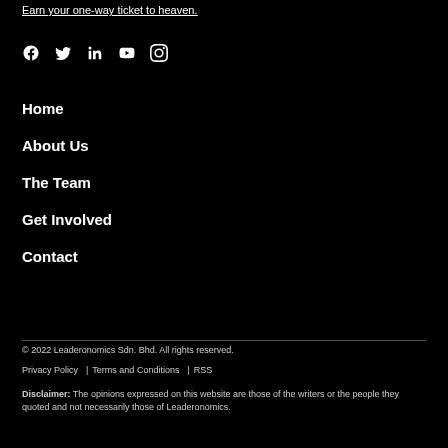Earn your one-way ticket to heaven.
[Figure (illustration): Social media icons: Facebook, Twitter, LinkedIn, YouTube, Instagram]
Home
About Us
The Team
Get Involved
Contact
© 2022 Leaderonomics Sdn. Bhd. All rights reserved.
Privacy Policy | Terms and Conditions | RSS
Disclaimer: The opinions expressed on this website are those of the writers or the people they quoted and not necessarily those of Leaderonomics.